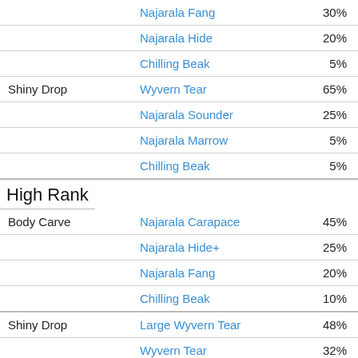| Category | Item | Rate |
| --- | --- | --- |
|  | Najarala Fang | 30% |
|  | Najarala Hide | 20% |
|  | Chilling Beak | 5% |
| Shiny Drop | Wyvern Tear | 65% |
|  | Najarala Sounder | 25% |
|  | Najarala Marrow | 5% |
|  | Chilling Beak | 5% |
High Rank
| Category | Item | Rate |
| --- | --- | --- |
| Body Carve | Najarala Carapace | 45% |
|  | Najarala Hide+ | 25% |
|  | Najarala Fang | 20% |
|  | Chilling Beak | 10% |
| Shiny Drop | Large Wyvern Tear | 48% |
|  | Wyvern Tear | 32% |
|  | Chilling Beak | 15% |